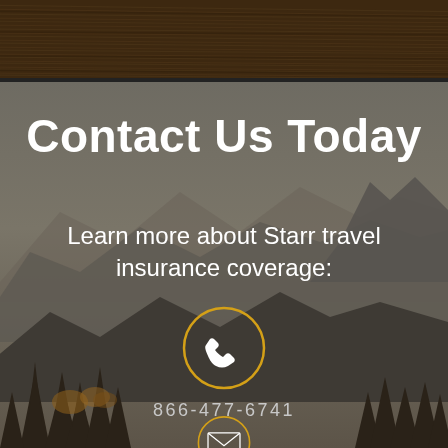[Figure (photo): Dark wood-grain texture header band at top of page]
[Figure (photo): Misty mountain landscape background with silhouetted pine trees in foreground and peaks in background, grey-brown foggy atmosphere]
Contact Us Today
Learn more about Starr travel insurance coverage:
[Figure (illustration): Circular phone/call icon with gold/amber outline circle and white telephone handset symbol inside]
866-477-6741
[Figure (illustration): Circular email/envelope icon with gold/amber outline circle, partially visible at bottom of page]